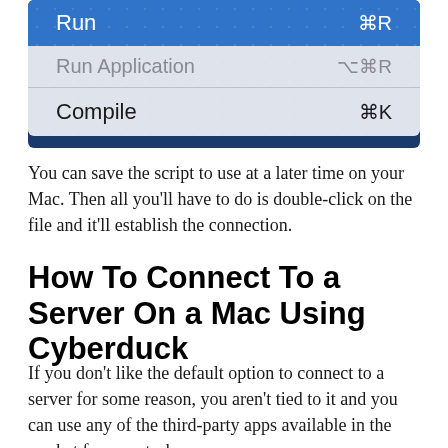[Figure (screenshot): macOS Script Editor menu showing Run (⌘R), Run Application (⌥⌘R), and Compile (⌘K) options on a dark blue starry background.]
You can save the script to use at a later time on your Mac. Then all you'll have to do is double-click on the file and it'll establish the connection.
How To Connect To a Server On a Mac Using Cyberduck
If you don't like the default option to connect to a server for some reason, you aren't tied to it and you can use any of the third-party apps available in the market for your task.
Cyberduck is one of the free apps that helps you